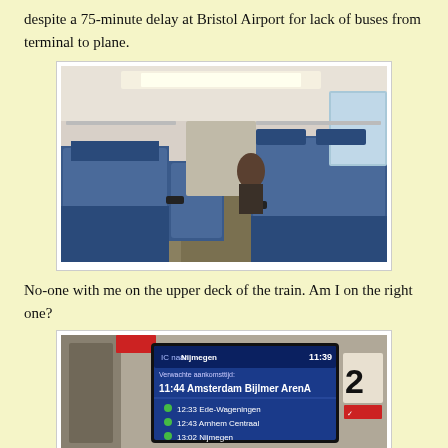despite a 75-minute delay at Bristol Airport for lack of buses from terminal to plane.
[Figure (photo): Interior of a train's upper deck showing blue seats, mostly empty, with aisle running down the middle and windows on the right side.]
No-one with me on the upper deck of the train. Am I on the right one?
[Figure (photo): Train information display screen showing IC naar Nijmegen, time 11:39, Verwachte aankomsttijd: 11:44 Amsterdam Bijlmer ArenA, with stops: 12:33 Ede-Wageningen, 12:43 Arnhem Centraal, 13:02 Nijmegen. Next to the screen is a '2' class indicator sign.]